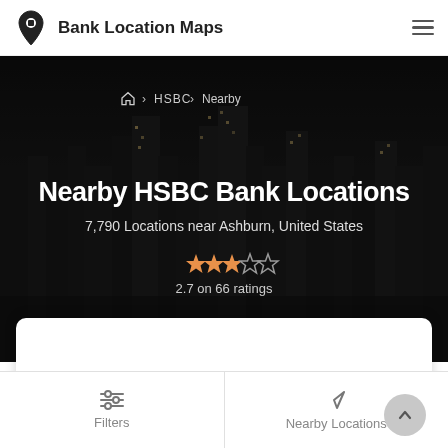Bank Location Maps
Nearby HSBC Bank Locations
7,790 Locations near Ashburn, United States
2.7 on 66 ratings
[Figure (map): White map area placeholder]
Filters | Nearby Locations